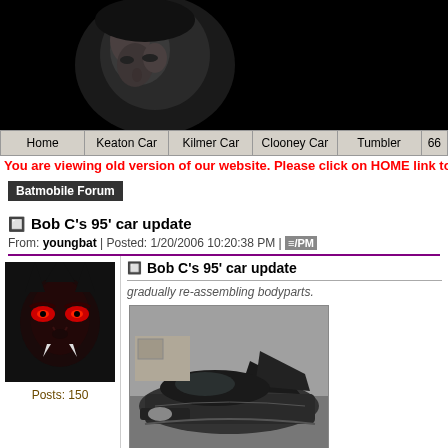[Figure (photo): Dark banner header with a person's face in black and white/dark tones against black background]
Home | Keaton Car | Kilmer Car | Clooney Car | Tumbler | 66
You are viewing old version of our website. Please click on HOME link to b
Batmobile Forum
Bob C's 95' car update
From: youngbat | Posted: 1/20/2006 10:20:38 PM |
[Figure (photo): Dark avatar image showing a demonic/monster face with red eyes]
Posts: 150
Bob C's 95' car update
gradually re-assembling bodyparts.
[Figure (photo): Black and white photo of a Batmobile car being assembled/constructed, showing fins and bodywork]